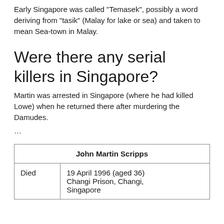Early Singapore was called "Temasek", possibly a word deriving from "tasik" (Malay for lake or sea) and taken to mean Sea-town in Malay.
Were there any serial killers in Singapore?
Martin was arrested in Singapore (where he had killed Lowe) when he returned there after murdering the Damudes.
…
| John Martin Scripps |
| --- |
| Died | 19 April 1996 (aged 36)
Changi Prison, Changi, Singapore |